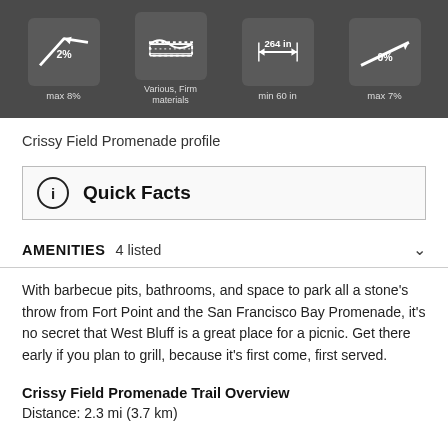[Figure (infographic): Dark bar with four trail profile icons showing: 2% (max 8%), Various Firm materials, 264 in (min 60 in), 0% (max 7%)]
Crissy Field Promenade profile
Quick Facts
AMENITIES   4 listed
With barbecue pits, bathrooms, and space to park all a stone's throw from Fort Point and the San Francisco Bay Promenade, it's no secret that West Bluff is a great place for a picnic. Get there early if you plan to grill, because it's first come, first served.
Crissy Field Promenade Trail Overview
Distance: 2.3 mi (3.7 km)